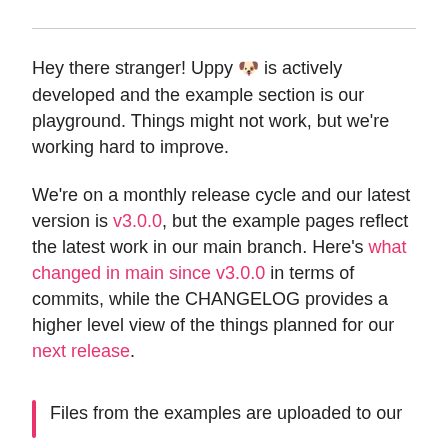Hey there stranger! Uppy 🐶 is actively developed and the example section is our playground. Things might not work, but we're working hard to improve.
We're on a monthly release cycle and our latest version is v3.0.0, but the example pages reflect the latest work in our main branch. Here's what changed in main since v3.0.0 in terms of commits, while the CHANGELOG provides a higher level view of the things planned for our next release.
Files from the examples are uploaded to our